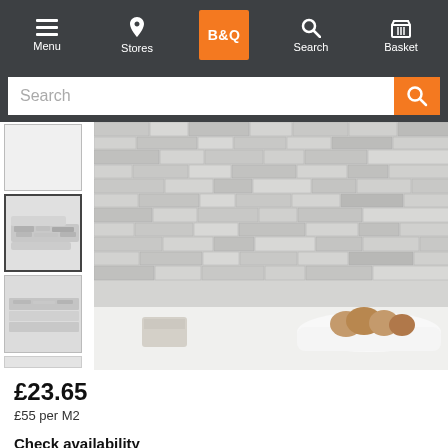B&Q navigation bar with Menu, Stores, B&Q logo, Search, Basket
[Figure (screenshot): Search bar with orange search button]
[Figure (photo): Main product image: stone cladding wall tiles with white/grey textured split-face finish, decorative bowl with onions on white surface below]
[Figure (photo): Thumbnail 1: blank/white thumbnail]
[Figure (photo): Thumbnail 2: stone cladding tile piece angled view]
[Figure (photo): Thumbnail 3: stone cladding tile piece flat view]
£23.65
£55 per M2
Check availability
Enter your postcode and we'll provide you with your delivery & collection options.